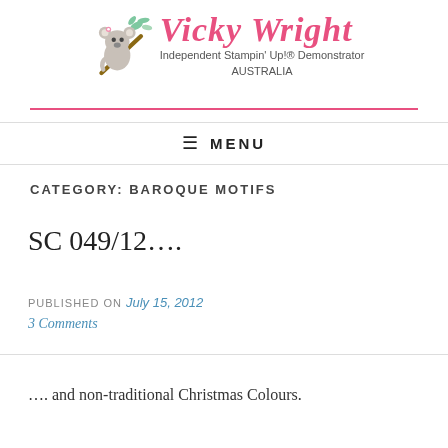[Figure (logo): Vicky Wright Independent Stampin Up Demonstrator Australia logo with koala illustration]
≡ MENU
CATEGORY: BAROQUE MOTIFS
SC 049/12....
PUBLISHED ON July 15, 2012
3 Comments
.... and non-traditional Christmas Colours.